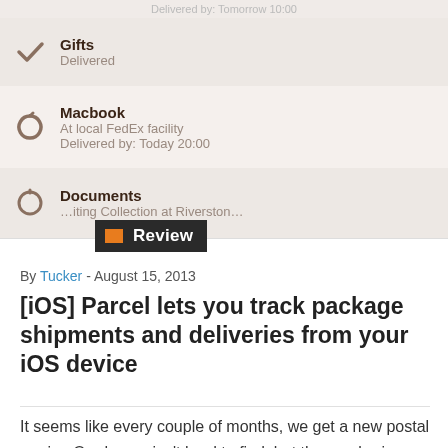[Figure (screenshot): Mobile app screenshot showing package tracking list with items: Gifts (Delivered), Macbook (At local FedEx facility, Delivered by: Today 20:00), Documents (Awaiting Collection at Riverston...)]
Review
By Tucker - August 15, 2013
[iOS] Parcel lets you track package shipments and deliveries from your iOS device
It seems like every couple of months, we get a new postal carrier. Our house isn't hard to find, but the numbering conventions are such that new mail carriers have a hard time finding our mailbox and our door. It's rea...